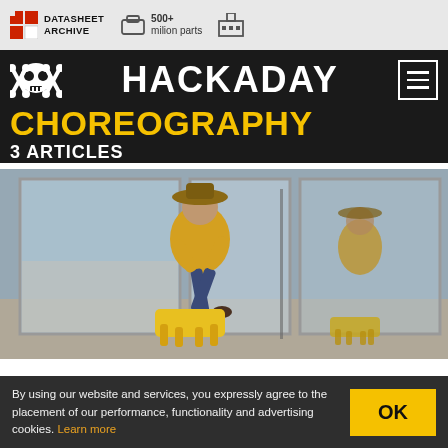DATASHEET ARCHIVE | 500+ million parts
HACKADAY
CHOREOGRAPHY
3 ARTICLES
[Figure (photo): A person wearing a cowboy hat and yellow shirt dancing with Boston Dynamics Spot robot dogs in an empty room with large windows overlooking the ocean.]
By using our website and services, you expressly agree to the placement of our performance, functionality and advertising cookies. Learn more